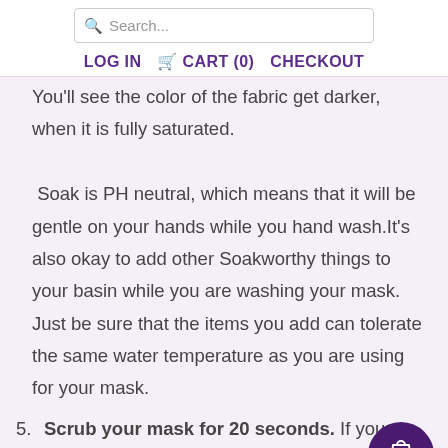Search...
LOG IN  CART (0)  CHECKOUT
You'll see the color of the fabric get darker, when it is fully saturated. Soak is PH neutral, which means that it will be gentle on your hands while you hand wash.It's also okay to add other Soakworthy things to your basin while you are washing your mask. Just be sure that the items you add can tolerate the same water temperature as you are using for your mask.
5. Scrub your mask for 20 seconds. If you want, you can add a bit more